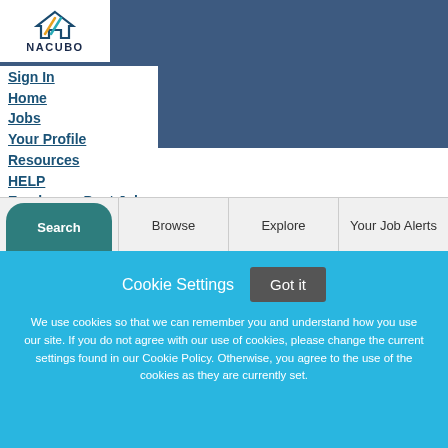[Figure (logo): NACUBO logo with house/arrow icon in teal, orange, and dark colors above the text NACUBO]
Sign In
Home
Jobs
Your Profile
Resources
HELP
Employers Post Jobs
Search | Browse | Explore | Your Job Alerts
Cookie Settings  Got it

We use cookies so that we can remember you and understand how you use our site. If you do not agree with our use of cookies, please change the current settings found in our Cookie Policy. Otherwise, you agree to the use of the cookies as they are currently set.